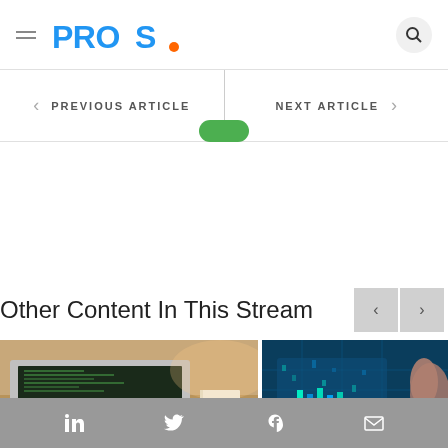[Figure (logo): PROS logo with blue text and orange dot]
PREVIOUS ARTICLE
NEXT ARTICLE
Other Content In This Stream
[Figure (photo): Laptop computer with hands typing on keyboard]
[Figure (photo): Blue tech background with digital screen and finger touching]
LinkedIn Twitter Facebook Email social share icons